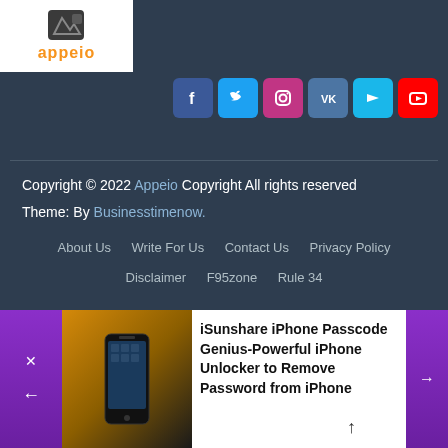[Figure (logo): Appeio logo with stylized icon and orange text on white background]
[Figure (infographic): Row of social media icons: Facebook, Twitter, Instagram, VK, Vimeo, YouTube]
Copyright © 2022 Appeio Copyright All rights reserved
Theme: By Businesstimenow.
About Us   Write For Us   Contact Us   Privacy Policy
Disclaimer   F95zone   Rule 34
[Figure (photo): iPhone on orange/brown background]
iSunshare iPhone Passcode Genius-Powerful iPhone Unlocker to Remove Password from iPhone